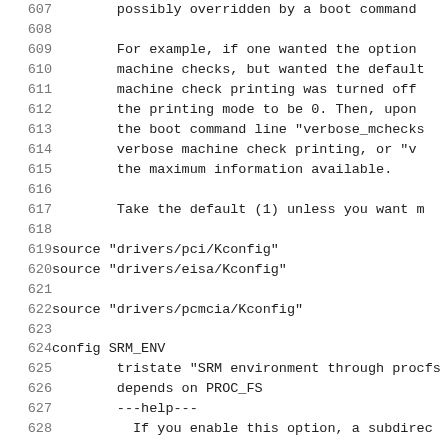Source code / Kconfig file lines 607-628 showing configuration for machine check and SRM environment options in Linux kernel Kconfig
| line | code |
| --- | --- |
| 607 |         possibly overridden by a boot command |
| 608 |  |
| 609 |         For example, if one wanted the option |
| 610 |         machine checks, but wanted the default |
| 611 |         machine check printing was turned off |
| 612 |         the printing mode to be 0. Then, upon |
| 613 |         the boot command line "verbose_mchecks |
| 614 |         verbose machine check printing, or "v |
| 615 |         the maximum information available. |
| 616 |  |
| 617 |         Take the default (1) unless you want m |
| 618 |  |
| 619 | source "drivers/pci/Kconfig" |
| 620 | source "drivers/eisa/Kconfig" |
| 621 |  |
| 622 | source "drivers/pcmcia/Kconfig" |
| 623 |  |
| 624 | config SRM_ENV |
| 625 |         tristate "SRM environment through procfs |
| 626 |         depends on PROC_FS |
| 627 |         ---help--- |
| 628 |           If you enable this option, a subdirec |